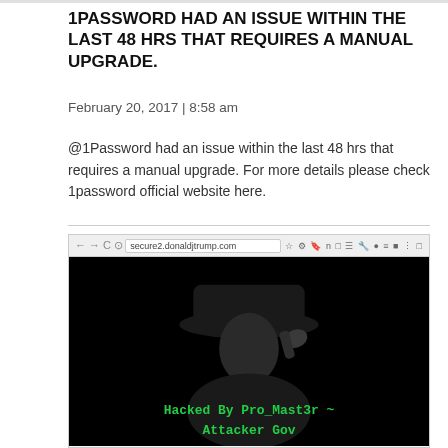1PASSWORD HAD AN ISSUE WITHIN THE LAST 48 HRS THAT REQUIRES A MANUAL UPGRADE.
February 20, 2017 | 8:58 am
@1Password had an issue within the last 48 hrs that requires a manual upgrade. For more details please check 1password official website here.
[Figure (screenshot): Screenshot of a browser showing secure2.donaldjtrump.com, which has been defaced. The page shows a dark/black background with a silhouette of a person in a hat, and green text reading 'Hacked By Pro_Mast3r ~ Attacker Gov']